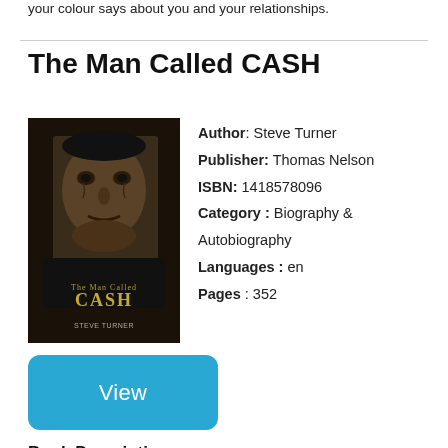your colour says about you and your relationships.
The Man Called CASH
[Figure (photo): Book cover of 'The Man Called CASH' by Steve Turner, showing a black and white close-up portrait of Johnny Cash.]
Author: Steve Turner
Publisher: Thomas Nelson
ISBN: 1418578096
Category : Biography & Autobiography
Languages : en
Pages : 352
View
Book Description
Johnny Cash is one of the most influential figures in music and American popular culture today. While he was an icon to people of all ages during his life, Cash's legacy continues after his death. His remarkable story is captured in this exclusive authorized biography, addressing the whole life of Johnny Cash, not just his